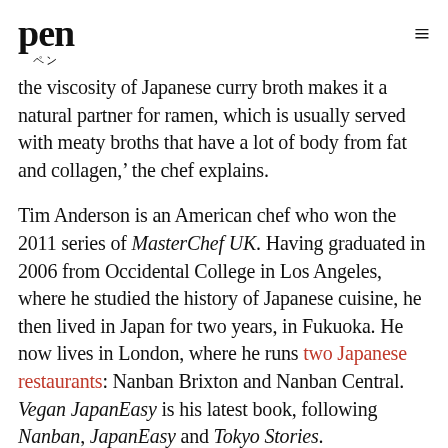pen ペン
the viscosity of Japanese curry broth makes it a natural partner for ramen, which is usually served with meaty broths that have a lot of body from fat and collagen,' the chef explains.
Tim Anderson is an American chef who won the 2011 series of MasterChef UK. Having graduated in 2006 from Occidental College in Los Angeles, where he studied the history of Japanese cuisine, he then lived in Japan for two years, in Fukuoka. He now lives in London, where he runs two Japanese restaurants: Nanban Brixton and Nanban Central. Vegan JapanEasy is his latest book, following Nanban, JapanEasy and Tokyo Stories.
Serves 4